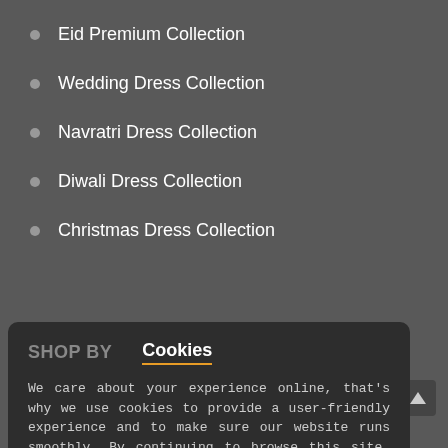Eid Premium Collection
Wedding Dress Collection
Navratri Dress Collection
Diwali Dress Collection
Christmas Dress Collection
SHOP BY  Cookies
We care about your experience online, that's why we use cookies to provide a user-friendly experience and to make sure our website runs smoothly. By continuing to browse this site, you agree to the use of cookies.
Eid Dresses
Women
Wedding Dresses
Festive Collections